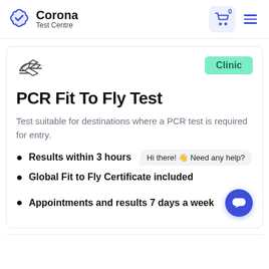Corona Test Centre
[Figure (other): Airplane takeoff icon with underline]
Clinic
PCR Fit To Fly Test
Test suitable for destinations where a PCR test is required for entry.
Results within 3 hours
Global Fit to Fly Certificate included
Appointments and results 7 days a week